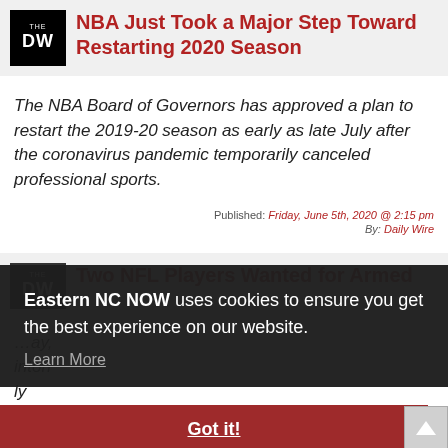NBA Just Took a Major Step Toward Restarting 2020 Season
The NBA Board of Governors has approved a plan to restart the 2019-20 season as early as late July after the coronavirus pandemic temporarily canceled professional sports.
Published: Friday, June 5th, 2020 @ 2:15 pm
By: Daily Wire
Two NFL Players Wanted for Armed
Eastern NC NOW uses cookies to ensure you get the best experience on our website. Learn More
Got it!